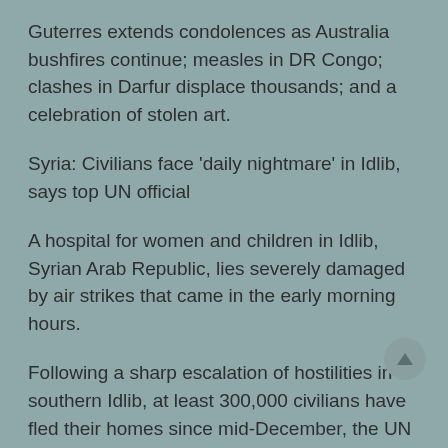Guterres extends condolences as Australia bushfires continue; measles in DR Congo; clashes in Darfur displace thousands; and a celebration of stolen art.
Syria: Civilians face 'daily nightmare' in Idlib, says top UN official
A hospital for women and children in Idlib, Syrian Arab Republic, lies severely damaged by air strikes that came in the early morning hours.
Following a sharp escalation of hostilities in southern Idlib, at least 300,000 civilians have fled their homes since mid-December, the UN Deputy Regional Humanitarian Coordinator for the Syria crisis said on Tuesday, voicing concern for their well-being.
I am alarmed at the deteriorating humanitarian situation